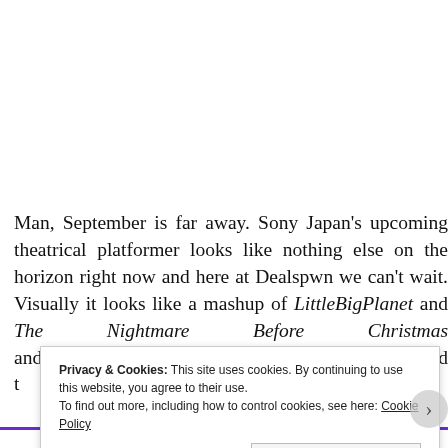Man, September is far away. Sony Japan's upcoming theatrical platformer looks like nothing else on the horizon right now and here at Dealspwn we can't wait. Visually it looks like a mashup of LittleBigPlanet and The Nightmare Before Christmas and the booming audio demands the game to be played t
Privacy & Cookies: This site uses cookies. By continuing to use this website, you agree to their use.
To find out more, including how to control cookies, see here: Cookie Policy
Close and accept